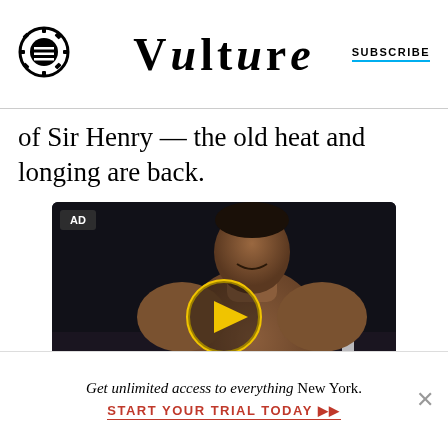VULTURE | SUBSCRIBE
of Sir Henry — the old heat and longing are back.
[Figure (photo): Video thumbnail showing a shirtless Black male boxer in a boxing ring with spectators behind him, overlaid with a yellow circular play button icon. An 'AD' badge appears in the top-left corner.]
Get unlimited access to everything New York. START YOUR TRIAL TODAY ➤➤